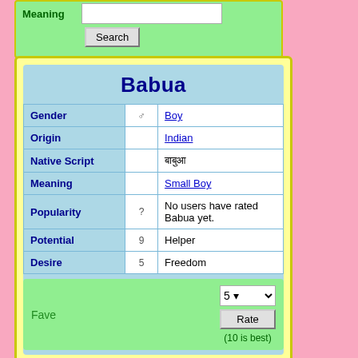Meaning [input field]
Search [button]
Babua
| Field | Icon | Value |
| --- | --- | --- |
| Gender | ♂ | Boy |
| Origin |  | Indian |
| Native Script |  | बाबुआ |
| Meaning |  | Small Boy |
| Popularity | ? | No users have rated Babua yet. |
| Potential | 9 | Helper |
| Desire | 5 | Freedom |
Fave
5 ▾ Rate (10 is best)